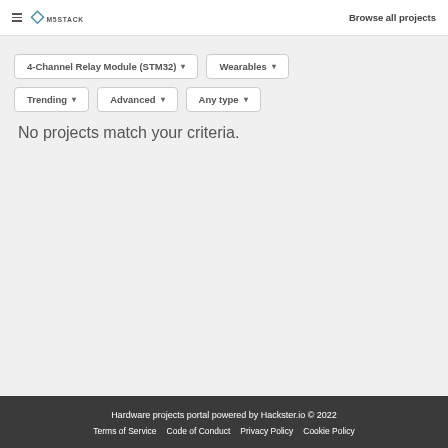M5STACK | Browse all projects
4-Channel Relay Module (STM32) ▾   Wearables ▾   Trending ▾   Advanced ▾   Any type ▾
No projects match your criteria.
Hardware projects portal powered by Hackster.io © 2022
Terms of Service   Code of Conduct   Privacy Policy   Cookie Policy